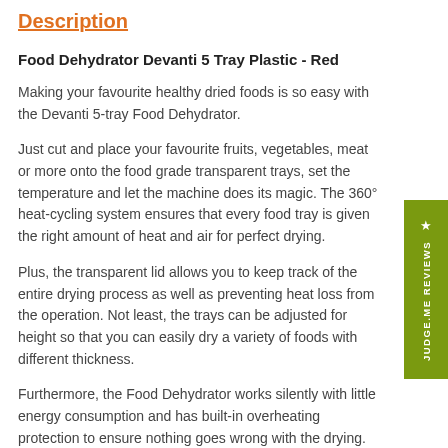Description
Food Dehydrator Devanti 5 Tray Plastic - Red
Making your favourite healthy dried foods is so easy with the Devanti 5-tray Food Dehydrator.
Just cut and place your favourite fruits, vegetables, meat or more onto the food grade transparent trays, set the temperature and let the machine does its magic. The 360° heat-cycling system ensures that every food tray is given the right amount of heat and air for perfect drying.
Plus, the transparent lid allows you to keep track of the entire drying process as well as preventing heat loss from the operation. Not least, the trays can be adjusted for height so that you can easily dry a variety of foods with different thickness.
Furthermore, the Food Dehydrator works silently with little energy consumption and has built-in overheating protection to ensure nothing goes wrong with the drying. And after the drying's been done, simply wash